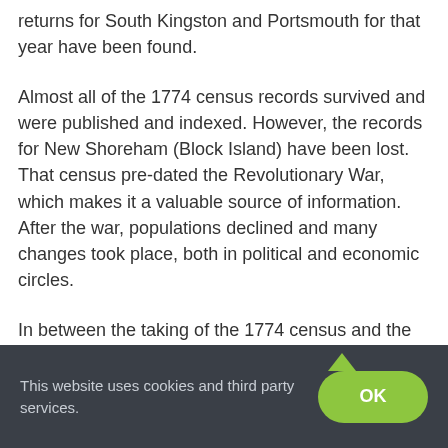returns for South Kingston and Portsmouth for that year have been found.
Almost all of the 1774 census records survived and were published and indexed. However, the records for New Shoreham (Block Island) have been lost. That census pre-dated the Revolutionary War, which makes it a valuable source of information. After the war, populations declined and many changes took place, both in political and economic circles.
In between the taking of the 1774 census and the taking of the 1782 census, a military
This website uses cookies and third party services.